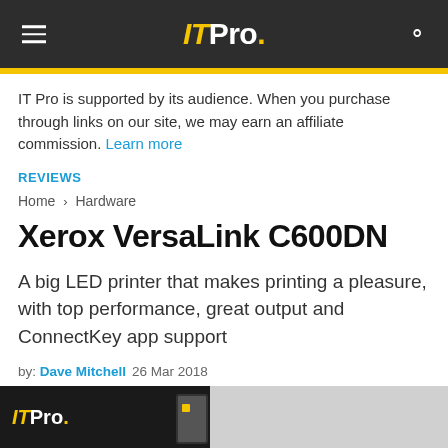IT Pro.
IT Pro is supported by its audience. When you purchase through links on our site, we may earn an affiliate commission. Learn more
REVIEWS
Home > Hardware
Xerox VersaLink C600DN
A big LED printer that makes printing a pleasure, with top performance, great output and ConnectKey app support
by: Dave Mitchell  26 Mar 2018
[Figure (screenshot): Bottom portion of IT Pro website showing a partial image of the IT Pro logo on a dark background and a white/grey device]